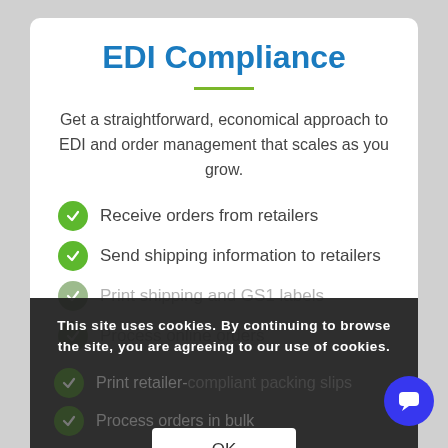EDI Compliance
Get a straightforward, economical approach to EDI and order management that scales as you grow.
Receive orders from retailers
Send shipping information to retailers
Print shipping and GS1 labels
Process online orders
Print retailer-compliant packing slips
Process orders in bulk
Automate data transfer
This site uses cookies. By continuing to browse the site, you are agreeing to our use of cookies.